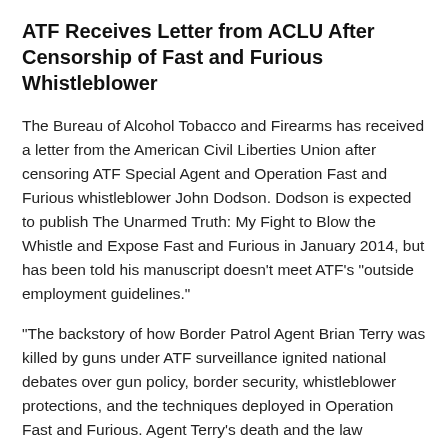ATF Receives Letter from ACLU After Censorship of Fast and Furious Whistleblower
The Bureau of Alcohol Tobacco and Firearms has received a letter from the American Civil Liberties Union after censoring ATF Special Agent and Operation Fast and Furious whistleblower John Dodson. Dodson is expected to publish The Unarmed Truth: My Fight to Blow the Whistle and Expose Fast and Furious in January 2014, but has been told his manuscript doesn't meet ATF's "outside employment guidelines."
“The backstory of how Border Patrol Agent Brian Terry was killed by guns under ATF surveillance ignited national debates over gun policy, border security, whistleblower protections, and the techniques deployed in Operation Fast and Furious. Agent Terry’s death and the law enforcement techniques it helped to expose attracted attention from the press, Congress, and the Justice Department Inspector General's office.
But now that one of the agents involved in the operation